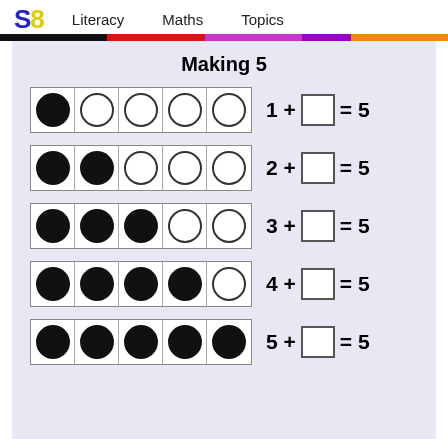SB  Literacy  Maths  Topics
Making 5
[Figure (illustration): Five cells in a row: 1 filled circle, 4 empty circles. Equation: 1 + __ = 5]
[Figure (illustration): Five cells in a row: 2 filled circles, 3 empty circles. Equation: 2 + __ = 5]
[Figure (illustration): Five cells in a row: 3 filled circles, 2 empty circles. Equation: 3 + __ = 5]
[Figure (illustration): Five cells in a row: 4 filled circles, 1 empty circle. Equation: 4 + __ = 5]
[Figure (illustration): Five cells in a row: 5 filled circles, 0 empty circles. Equation: 5 + __ = 5]